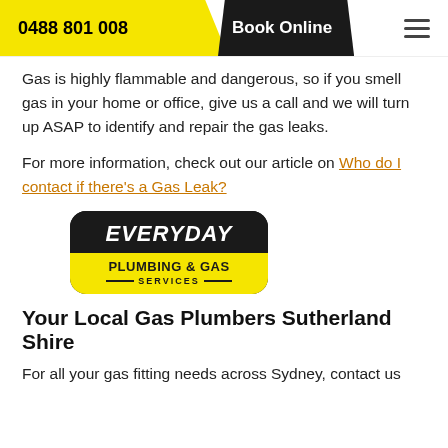0488 801 008 | Book Online
Gas is highly flammable and dangerous, so if you smell gas in your home or office, give us a call and we will turn up ASAP to identify and repair the gas leaks.
For more information, check out our article on Who do I contact if there's a Gas Leak?
[Figure (logo): Everyday Plumbing & Gas Services logo — black rounded rectangle with white bold italic EVERYDAY text on top and yellow band below with PLUMBING & GAS SERVICES text]
Your Local Gas Plumbers Sutherland Shire
For all your gas fitting needs across Sydney, contact us